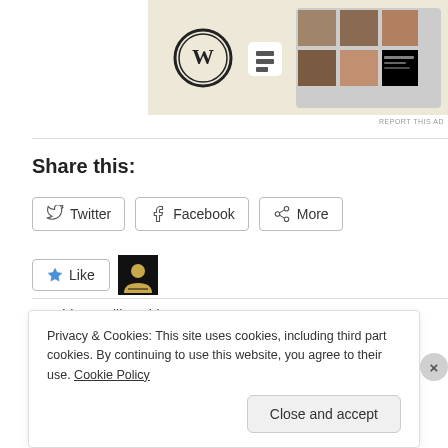[Figure (screenshot): Advertisement showing WordPress logo, Squarespace icon, and food menu images on a beige background]
REPORT THIS AD
Share this:
Twitter  Facebook  More (share buttons)
Like  [blogger avatar]
One blogger likes this.
Related
Privacy & Cookies: This site uses cookies, including third part cookies. By continuing to use this website, you agree to their use. Cookie Policy
Close and accept